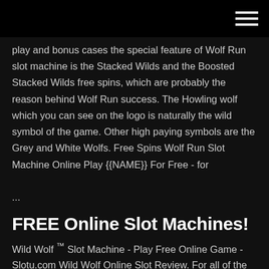[hamburger menu icon]
play and bonus cases the special feature of Wolf Run slot machine is the Stacked Wilds and the Boosted Stacked Wilds free spins, which are probably the reason behind Wolf Run success. The Howling wolf which you can see on the logo is naturally the wild symbol of the game. Other high paying symbols are the Grey and White Wolfs. Free Spins Wolf Run Slot Machine Online Play {{NAME}} For Free - for ...
FREE Online Slot Machines!
Wild Wolf ™ Slot Machine - Play Free Online Game - Slotu.com Wild Wolf Online Slot Review. For all of the animal lovers out there who have been eagerly waiting for the next animal-themed game, the Wild Wolf slot machine